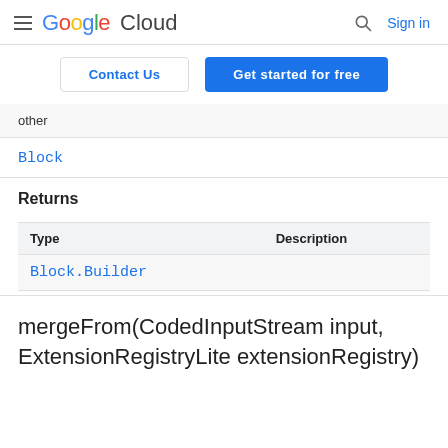Google Cloud  Sign in
Contact Us   Get started for free
other
Block
Returns
| Type | Description |
| --- | --- |
| Block.Builder |  |
mergeFrom(CodedInputStream input, ExtensionRegistryLite extensionRegistry)